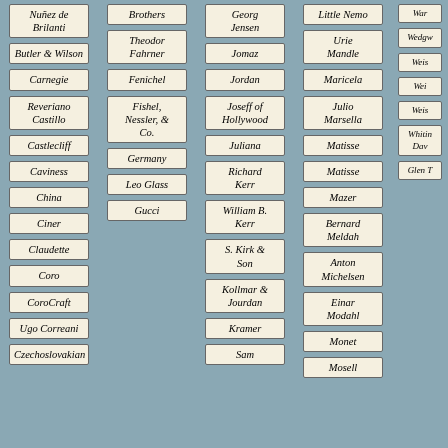Nuñez de Brilanti
Butler & Wilson
Carnegie
Reveriano Castillo
Castlecliff
Caviness
China
Ciner
Claudette
Coro
CoroCraft
Ugo Correani
Czechoslovakian
Brothers
Theodor Fahrner
Fenichel
Fishel, Nessler, & Co.
Germany
Leo Glass
Gucci
Georg Jensen
Jomaz
Jordan
Joseff of Hollywood
Juliana
Richard Kerr
William B. Kerr
S. Kirk & Son
Kollmar & Jourdan
Kramer
Sam
Little Nemo
Urie Mandle
Maricela
Julio Marsella
Matisse
Matisse
Mazer
Bernard Meldah
Anton Michelsen
Einar Modahl
Monet
Mosell
War
Wedgw
Weis
Wei
Weis
Whitin Day
Glen T